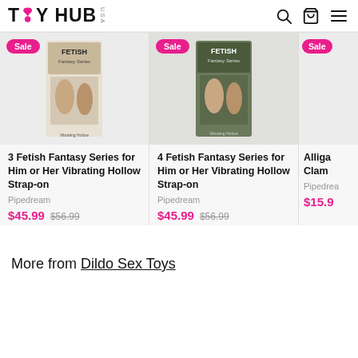TOY HUB USA
[Figure (screenshot): Product card: 3 Fetish Fantasy Series for Him or Her Vibrating Hollow Strap-on, Sale badge, product image]
3 Fetish Fantasy Series for Him or Her Vibrating Hollow Strap-on
Pipedream
$45.99  $56.99
[Figure (screenshot): Product card: 4 Fetish Fantasy Series for Him or Her Vibrating Hollow Strap-on, Sale badge, product image]
4 Fetish Fantasy Series for Him or Her Vibrating Hollow Strap-on
Pipedream
$45.99  $56.99
[Figure (screenshot): Partial product card: Alliga... Clam... Sale badge, partial view, $15.9...]
More from Dildo Sex Toys